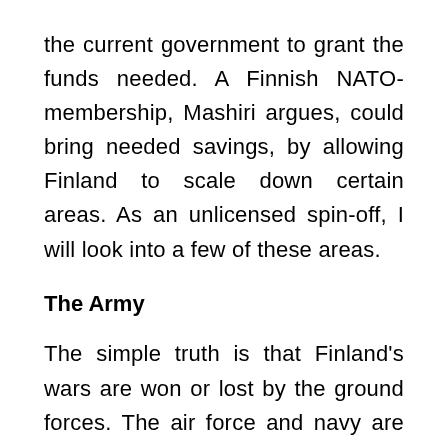the current government to grant the funds needed. A Finnish NATO-membership, Mashiri argues, could bring needed savings, by allowing Finland to scale down certain areas. As an unlicensed spin-off, I will look into a few of these areas.
The Army
The simple truth is that Finland's wars are won or lost by the ground forces. The air force and navy are important supporting arms, but neither can defend Finnish territory alone. Finland has also maintained a rather traditional force structure, with a large